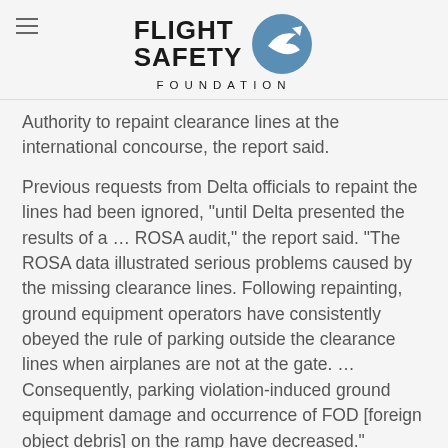[Figure (logo): Flight Safety Foundation logo with circular arrow graphic and hamburger menu icon on the left]
Authority to repaint clearance lines at the international concourse, the report said.
Previous requests from Delta officials to repaint the lines had been ignored, "until Delta presented the results of a … ROSA audit," the report said. "The ROSA data illustrated serious problems caused by the missing clearance lines. Following repainting, ground equipment operators have consistently obeyed the rule of parking outside the clearance lines when airplanes are not at the gate. … Consequently, parking violation-induced ground equipment damage and occurrence of FOD [foreign object debris] on the ramp have decreased."